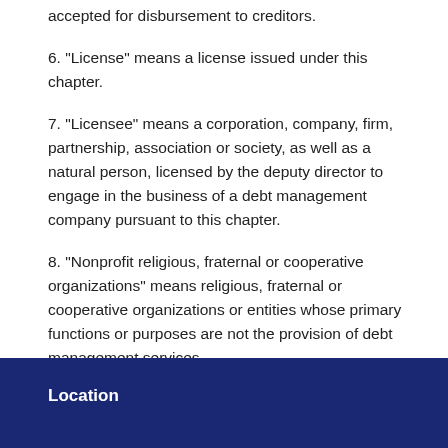accepted for disbursement to creditors.
6. "License" means a license issued under this chapter.
7. "Licensee" means a corporation, company, firm, partnership, association or society, as well as a natural person, licensed by the deputy director to engage in the business of a debt management company pursuant to this chapter.
8. "Nonprofit religious, fraternal or cooperative organizations" means religious, fraternal or cooperative organizations or entities whose primary functions or purposes are not the provision of debt management services.
Location